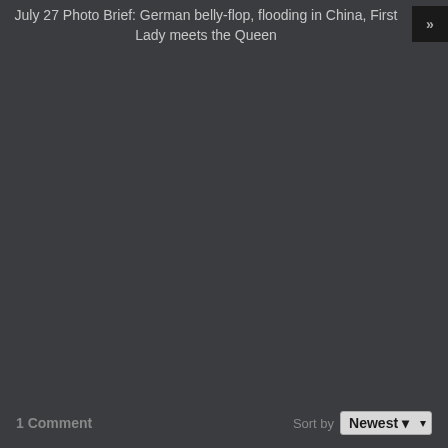July 27 Photo Brief: German belly-flop, flooding in China, First Lady meets the Queen
1 Comment
Sort by Newest